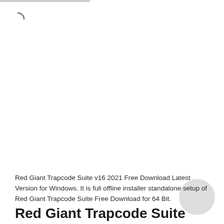[Figure (other): Loading spinner arc icon in gray at top left, and a gray circle watermark at bottom right]
Red Giant Trapcode Suite v16 2021 Free Download Latest Version for Windows. It is full offline installer standalone setup of Red Giant Trapcode Suite Free Download for 64 Bit.
Red Giant Trapcode Suite